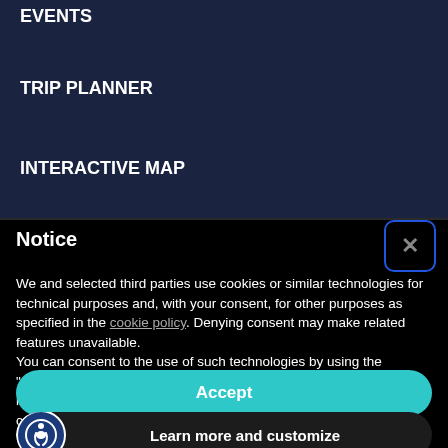EVENTS
TRIP PLANNER
INTERACTIVE MAP
Notice
We and selected third parties use cookies or similar technologies for technical purposes and, with your consent, for other purposes as specified in the cookie policy. Denying consent may make related features unavailable.
You can consent to the use of such technologies by using the "Accept" button, by closing this notice, by scrolling this page, by interacting with any link or button outside of this notice or by continuing to browse otherwise.
Accept
Learn more and customize